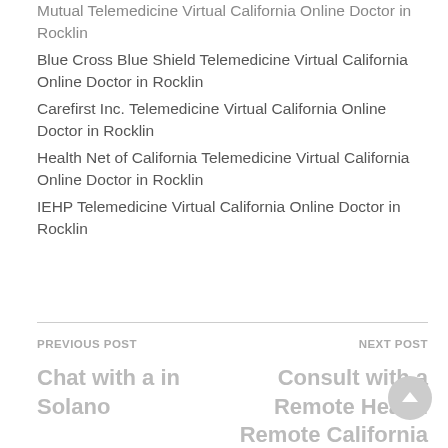Mutual Telemedicine Virtual California Online Doctor in Rocklin
Blue Cross Blue Shield Telemedicine Virtual California Online Doctor in Rocklin
Carefirst Inc. Telemedicine Virtual California Online Doctor in Rocklin
Health Net of California Telemedicine Virtual California Online Doctor in Rocklin
IEHP Telemedicine Virtual California Online Doctor in Rocklin
PREVIOUS POST
Chat with a in Solano
NEXT POST
Consult with a Remote Health Remote California Video Tele